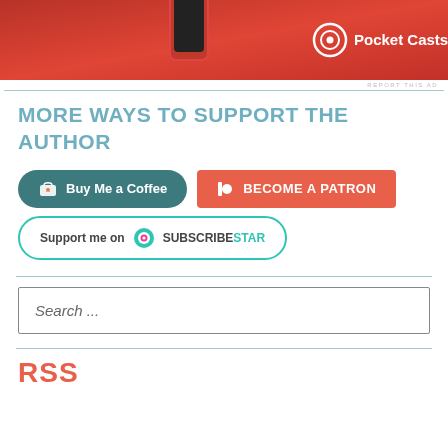[Figure (screenshot): Pocket Casts advertisement banner with red background showing a phone and Pocket Casts logo]
REPORT THIS AD
MORE WAYS TO SUPPORT THE AUTHOR
[Figure (screenshot): Buy Me a Coffee button - teal rounded button with heart/coffee icon]
[Figure (screenshot): Become a Patron button - orange/red rectangular button with Patreon icon]
[Figure (screenshot): Support me on SubscribeStar button - outlined teal rounded button]
Search ...
RSS